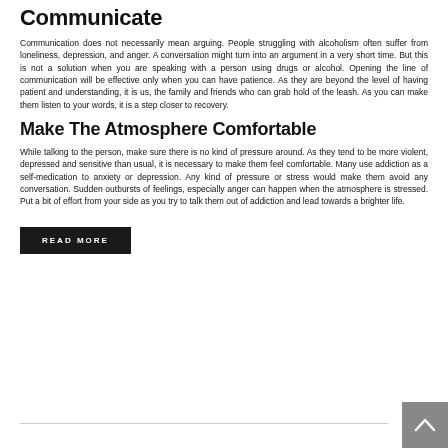Communicate
Communication does not necessarily mean arguing. People struggling with alcoholism often suffer from loneliness, depression, and anger. A conversation might turn into an argument in a very short time. But this is not a solution when you are speaking with a person using drugs or alcohol. Opening the line of communication will be effective only when you can have patience. As they are beyond the level of having patient and understanding, it is us, the family and friends who can grab hold of the leash. As you can make them listen to your words, it is a step closer to recovery.
Make The Atmosphere Comfortable
While talking to the person, make sure there is no kind of pressure around. As they tend to be more violent, depressed and sensitive than usual, it is necessary to make them feel comfortable. Many use addiction as a self-medication to anxiety or depression. Any kind of pressure or stress would make them avoid any conversation. Sudden outbursts of feelings, especially anger can happen when the atmosphere is stressed. Put a bit of effort from your side as you try to talk them out of addiction and lead towards a brighter life.
READ MORE